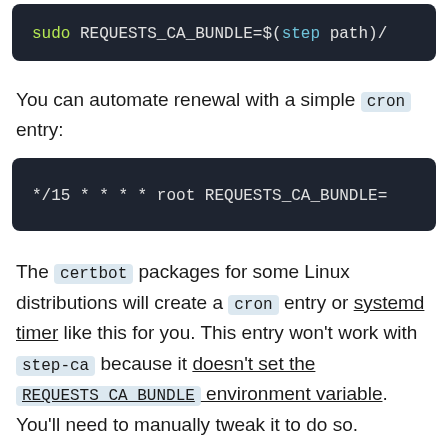[Figure (screenshot): Code block showing: sudo REQUESTS_CA_BUNDLE=$(step path)/]
You can automate renewal with a simple cron entry:
[Figure (screenshot): Code block showing: */15 * * * * root REQUESTS_CA_BUNDLE=]
The certbot packages for some Linux distributions will create a cron entry or systemd timer like this for you. This entry won't work with step-ca because it doesn't set the REQUESTS_CA_BUNDLE environment variable. You'll need to manually tweak it to do so.